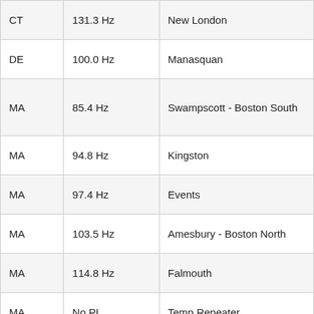| CT | 131.3 Hz | New London |
| DE | 100.0 Hz | Manasquan |
| MA | 85.4 Hz | Swampscott - Boston South |
| MA | 94.8 Hz | Kingston |
| MA | 97.4 Hz | Events |
| MA | 103.5 Hz | Amesbury - Boston North |
| MA | 114.8 Hz | Falmouth |
| MA | No PL | Temp Repeater |
| MA | 156.7 Hz | Holyoke |